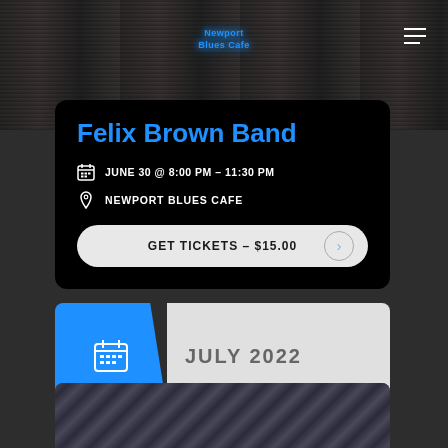[Figure (photo): Band performing on stage at Newport Blues Cafe, dark concert photo with neon blue Newport Blues Cafe logo visible]
Felix Brown Band
JUNE 30 @ 8:00 PM - 11:30 PM
NEWPORT BLUES CAFE
GET TICKETS – $15.00
JULY 2022
[Figure (photo): Partial bottom photo strip showing what appears to be a metallic or chain-link textured surface in dark tones]